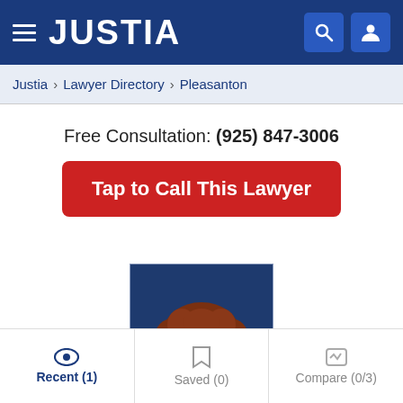JUSTIA
Justia > Lawyer Directory > Pleasanton
Free Consultation: (925) 847-3006
Tap to Call This Lawyer
[Figure (photo): Headshot of a woman with curly auburn hair and glasses, wearing a dark top, against a blue background.]
Recent (1) | Saved (0) | Compare (0/3)